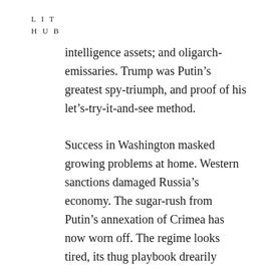L I T
H U B
intelligence assets; and oligarch-emissaries. Trump was Putin's greatest spy-triumph, and proof of his let's-try-it-and-see method.

Success in Washington masked growing problems at home. Western sanctions damaged Russia's economy. The sugar-rush from Putin's annexation of Crimea has now worn off. The regime looks tired, its thug playbook drearily familiar. It responded to July protests in